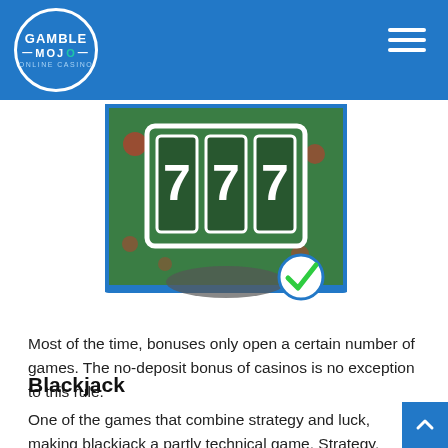GAMBLE MOJO
[Figure (illustration): Casino slot machine graphic showing three 7s on a green felt background, with a blue border and a green checkmark circle badge in the bottom right.]
Most of the time, bonuses only open a certain number of games. The no-deposit bonus of casinos is no exception to this rule.
Blackjack
One of the games that combine strategy and luck, making blackjack a partly technical game. Strategy, as you count and try different maneuvers to stay within the 21-point margin. It is also a matter of luck, because the opponent,